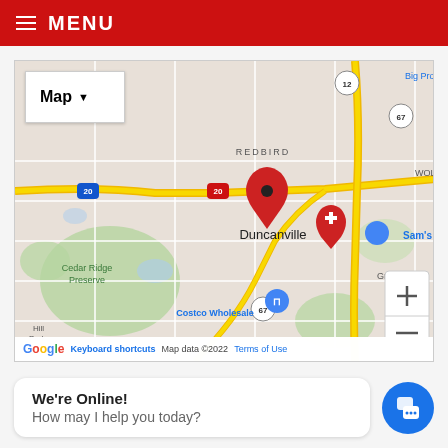MENU
[Figure (map): Google Map showing Duncanville, TX area with a red location pin marker on Duncanville, highway I-20, route 67, with landmarks including Cedar Ridge Preserve, Costco Wholesale, Sam's Club, and a hospital marker. Map type button and zoom controls visible.]
We're Online!
How may I help you today?